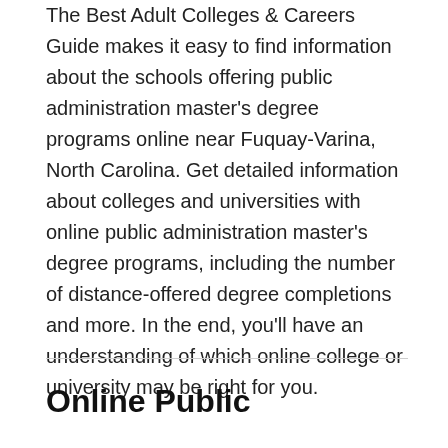The Best Adult Colleges & Careers Guide makes it easy to find information about the schools offering public administration master's degree programs online near Fuquay-Varina, North Carolina. Get detailed information about colleges and universities with online public administration master's degree programs, including the number of distance-offered degree completions and more. In the end, you'll have an understanding of which online college or university may be right for you.
Online Public